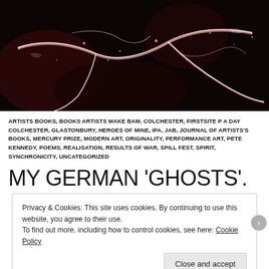[Figure (photo): Close-up abstract dark photo showing white crystalline or cracked texture with red/pink streaks against a very dark background, resembling a fractured surface or biological material.]
ARTISTS BOOKS, BOOKS ARTISTS MAKE BAM, COLCHESTER, FIRSTSITE P A DAY COLCHESTER, GLASTONBURY, HEROES OF MINE, IPA, JAB, JOURNAL OF ARTISTS'S BOOKS, MERCURY PRIZE, MODERN ART, ORIGINALITY, PERFORMANCE ART, PETE KENNEDY, POEMS, REALISATION, RESULTS OF WAR, SPILL FEST, SPIRIT, SYNCHRONICITY, UNCATEGORIZED
MY GERMAN 'GHOSTS'.
Privacy & Cookies: This site uses cookies. By continuing to use this website, you agree to their use.
To find out more, including how to control cookies, see here: Cookie Policy
[Close and accept]